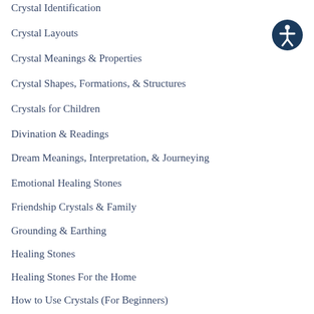Crystal Identification
Crystal Layouts
Crystal Meanings & Properties
Crystal Shapes, Formations, & Structures
Crystals for Children
Divination & Readings
Dream Meanings, Interpretation, & Journeying
Emotional Healing Stones
Friendship Crystals & Family
Grounding & Earthing
Healing Stones
Healing Stones For the Home
How to Use Crystals (For Beginners)
Intuition & Psychic Development